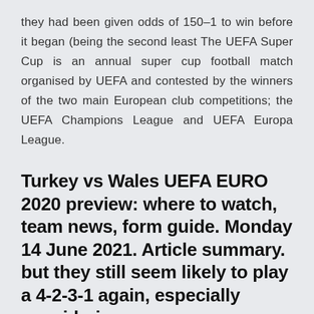they had been given odds of 150-1 to win before it began (being the second least The UEFA Super Cup is an annual super cup football match organised by UEFA and contested by the winners of the two main European club competitions; the UEFA Champions League and UEFA Europa League.
Turkey vs Wales UEFA EURO 2020 preview: where to watch, team news, form guide. Monday 14 June 2021. Article summary. but they still seem likely to play a 4-2-3-1 again, especially considering
The UEFA EURO 2020 kicked off today with the first